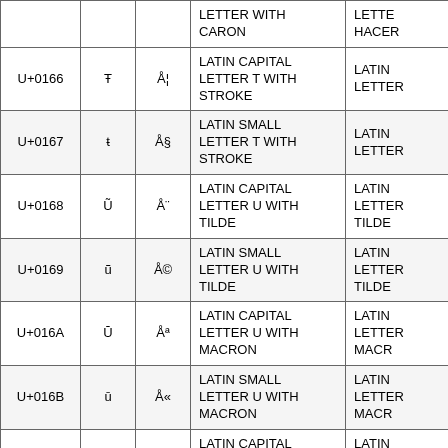| Code | Char | Bytes | Unicode Name | HTML Name |
| --- | --- | --- | --- | --- |
|  |  |  | LETTER WITH CARON | HACER... |
| U+0166 | Ŧ | Å¦ | LATIN CAPITAL LETTER T WITH STROKE | LATIN LETTE... |
| U+0167 | ŧ | Å§ | LATIN SMALL LETTER T WITH STROKE | LATIN LETTE... |
| U+0168 | Ũ | Å¨ | LATIN CAPITAL LETTER U WITH TILDE | LATIN LETTER U WITH TILDE |
| U+0169 | ũ | Å© | LATIN SMALL LETTER U WITH TILDE | LATIN LETTER U WITH TILDE |
| U+016A | Ū | Åª | LATIN CAPITAL LETTER U WITH MACRON | LATIN LETTER U WITH MACR... |
| U+016B | ū | Å« | LATIN SMALL LETTER U WITH MACRON | LATIN LETTER U WITH MACR... |
| U+016C | Ŭ | Å¬ | LATIN CAPITAL LETTER U WITH BREVE | LATIN LETTER U WITH BREVE |
| U+016D | ŭ | Å­ | LATIN SMALL LETTER U WITH... | LATIN LETTER... |